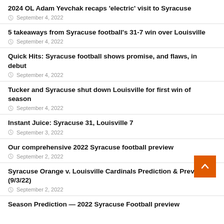2024 OL Adam Yevchak recaps ‘electric’ visit to Syracuse
September 4, 2022
5 takeaways from Syracuse football’s 31-7 win over Louisville
September 4, 2022
Quick Hits: Syracuse football shows promise, and flaws, in debut
September 4, 2022
Tucker and Syracuse shut down Louisville for first win of season
September 4, 2022
Instant Juice: Syracuse 31, Louisville 7
September 3, 2022
Our comprehensive 2022 Syracuse football preview
September 2, 2022
Syracuse Orange v. Louisville Cardinals Prediction & Preview (9/3/22)
September 2, 2022
Season Prediction — 2022 Syracuse Football preview